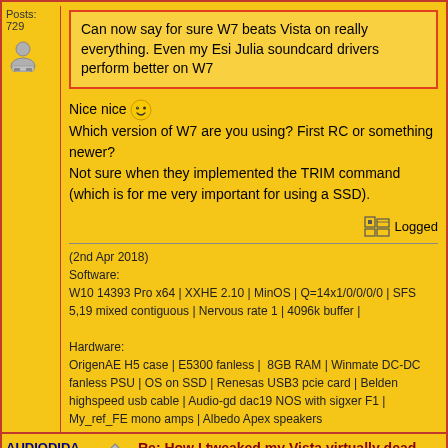Posts: 729
Can now say for sure W7 beats Vista on really everything. Even my Esi Julia soundcard drivers perform better on W7
Nice nice
Which version of W7 are you using? First RC or something newer?
Not sure when they implemented the TRIM command (which is for me very important for using a SSD).
Logged
(2nd Apr 2018)
Software:
W10 14393 Pro x64 | XXHE 2.10 | MinOS | Q=14x1/0/0/0/0 | SFS 5,19 mixed contiguous | Nervous rate 1 | 4096k buffer |

Hardware:
OrigenAE H5 case | E5300 fanless | 8GB RAM | Winmate DC-DC fanless PSU | OS on SSD | Renesas USB3 pcie card | Belden highspeed usb cable | Audio-gd dac19 NOS with sigxer F1 | My_ref_FE mono amps | Albedo Apex speakers
AUDIODIDA
Audio Addict
Offline
Re: How I tweaked my Vista virtually dead
« Reply #53 on: June 30, 2009, 03:45:04 pm »
W7 (Build 7100) on OCZ Vertex - Firmware 1.30: